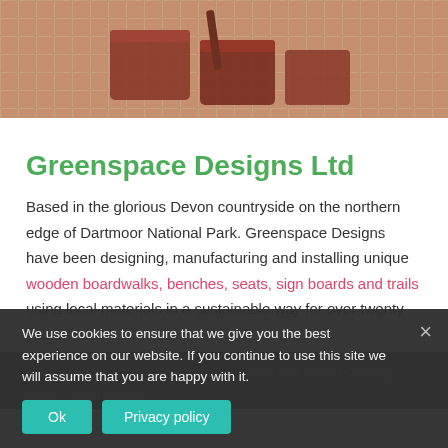[Figure (photo): Photo of wooden blocks/timber on a paved surface, partially visible at top of page]
Greenspace Designs Ltd
Based in the glorious Devon countryside on the northern edge of Dartmoor National Park. Greenspace Designs have been designing, manufacturing and installing unique wooden boardwalks, benches, seats, sign boards and trails using local materials in a sustainable way for over twenty years.
We... garden benches to int... use trails incorporating woo... oardwalks, platforms and brid... Each...
We use cookies to ensure that we give you the best experience on our website. If you continue to use this site we will assume that you are happy with it.